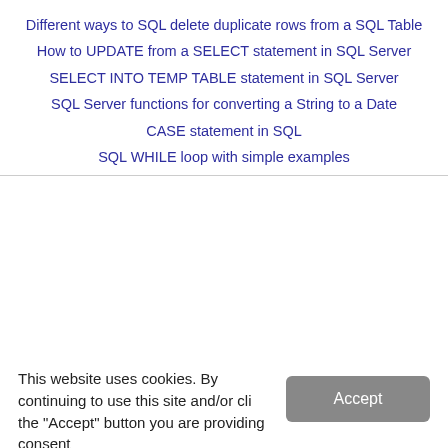Different ways to SQL delete duplicate rows from a SQL Table
How to UPDATE from a SELECT statement in SQL Server
SELECT INTO TEMP TABLE statement in SQL Server
SQL Server functions for converting a String to a Date
CASE statement in SQL
SQL WHILE loop with simple examples
This website uses cookies. By continuing to use this site and/or cli the "Accept" button you are providing consent
Quest Software and its affiliates do NOT sell the Personal Data you provide to us either when you register on our websites or when you do business with us. For more information about our Privacy Policy and our data protection efforts, please visit GDPR-HQ